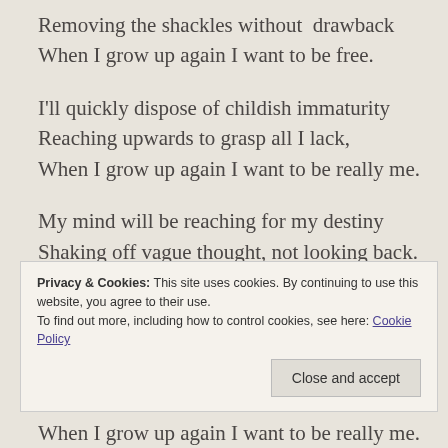Removing the shackles without  drawback
When I grow up again I want to be free.
I'll quickly dispose of childish immaturity
Reaching upwards to grasp all I lack,
When I grow up again I want to be really me.
My mind will be reaching for my destiny
Shaking off vague thought, not looking back.
When I grow up again I want to be free.
I know there can be no guarantee
My ambition will withstand any attack,
When I grow up again I want to be really me.
Privacy & Cookies: This site uses cookies. By continuing to use this website, you agree to their use.
To find out more, including how to control cookies, see here: Cookie Policy
Close and accept
When I grow up again I want to be really me.